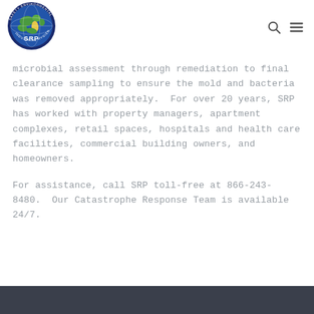[Figure (logo): SRP Safety Environmental Industrial Hygiene circular globe logo]
microbial assessment through remediation to final clearance sampling to ensure the mold and bacteria was removed appropriately.  For over 20 years, SRP has worked with property managers, apartment complexes, retail spaces, hospitals and health care facilities, commercial building owners, and homeowners.
For assistance, call SRP toll-free at 866-243-8480.  Our Catastrophe Response Team is available 24/7.